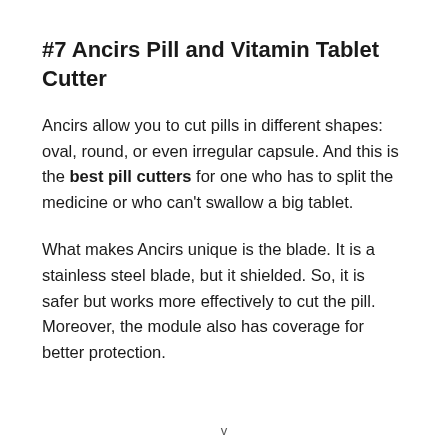#7 Ancirs Pill and Vitamin Tablet Cutter
Ancirs allow you to cut pills in different shapes: oval, round, or even irregular capsule. And this is the best pill cutters for one who has to split the medicine or who can't swallow a big tablet.
What makes Ancirs unique is the blade. It is a stainless steel blade, but it shielded. So, it is safer but works more effectively to cut the pill. Moreover, the module also has coverage for better protection.
v